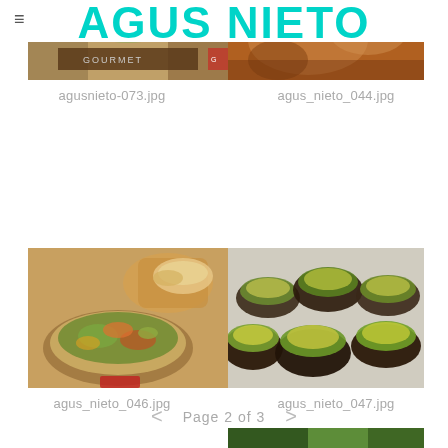AGUS NIETO
[Figure (photo): Partial food photo top left - magazine/cookbook style with text overlay 'GOURMET']
agusnieto-073.jpg
[Figure (photo): Partial food photo top right - warm toned food photography]
agus_nieto_044.jpg
[Figure (photo): Bowl of grain salad with vegetables - tabbouleh style salad in ceramic bowl with bread in background]
agus_nieto_046.jpg
[Figure (photo): Stuffed mushrooms topped with green herbs and breadcrumbs on a plate]
agus_nieto_047.jpg
< Page 2 of 3 >
[Figure (photo): Partial food photo bottom right - partially visible]